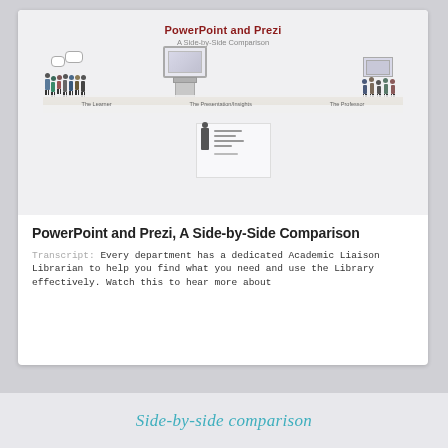[Figure (screenshot): Screenshot of a PowerPoint/Prezi presentation slide showing title 'PowerPoint and Prezi' with subtitle 'A Side-by-Side Comparison' and a scene with groups of illustrated people, a presentation screen and podium, and labels below. A second smaller slide preview is shown beneath.]
PowerPoint and Prezi, A Side-by-Side Comparison
Transcript: Every department has a dedicated Academic Liaison Librarian to help you find what you need and use the Library effectively. Watch this to hear more about
Side-by-side comparison